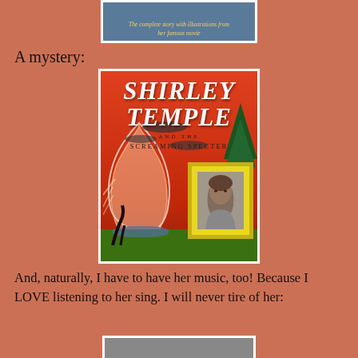[Figure (illustration): Top portion of a book cover showing partial image with text 'The complete story with illustrations from her famous movie']
A mystery:
[Figure (illustration): Book cover for 'Shirley Temple and the Screaming Specter' featuring white ghost-like shape on red background with trees, swamp, and photo of Shirley Temple in yellow frame]
And, naturally, I have to have her music, too! Because I LOVE listening to her sing. I will never tire of her:
[Figure (illustration): Bottom portion of another book or album cover, partially visible]